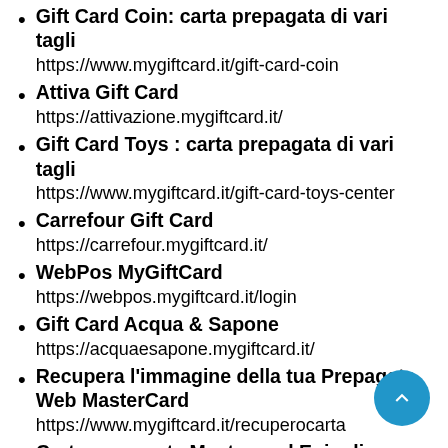Gift Card Coin: carta prepagata di vari tagli
https://www.mygiftcard.it/gift-card-coin
Attiva Gift Card
https://attivazione.mygiftcard.it/
Gift Card Toys : carta prepagata di vari tagli
https://www.mygiftcard.it/gift-card-toys-center
Carrefour Gift Card
https://carrefour.mygiftcard.it/
WebPos MyGiftCard
https://webpos.mygiftcard.it/login
Gift Card Acqua & Sapone
https://acquaesapone.mygiftcard.it/
Recupera l'immagine della tua Prepagata Web MasterCard
https://www.mygiftcard.it/recuperocarta
Carta prepagata Mastercard Epipoli - mygiftcard.it